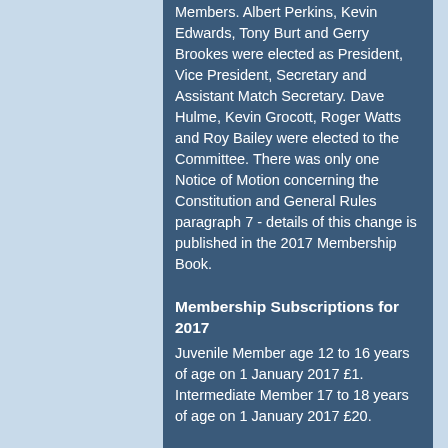Members. Albert Perkins, Kevin Edwards, Tony Burt and Gerry Brookes were elected as President, Vice President, Secretary and Assistant Match Secretary. Dave Hulme, Kevin Grocott, Roger Watts and Roy Bailey were elected to the Committee. There was only one Notice of Motion concerning the Constitution and General Rules paragraph 7 - details of this change is published in the 2017 Membership Book.
Membership Subscriptions for 2017
Juvenile Member age 12 to 16 years of age on 1 January 2017 £1. Intermediate Member 17 to 18 years of age on 1 January 2017 £20.